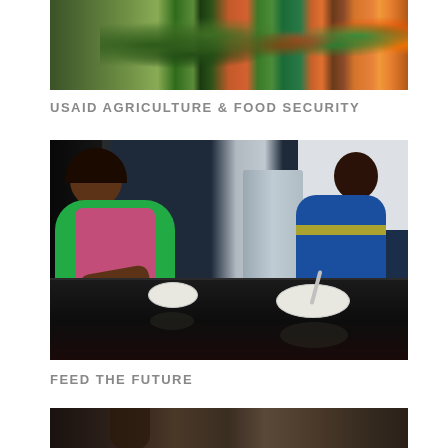[Figure (photo): Photo of watermelons and colorful bags/produce in a basket or market display, viewed from above]
USAID AGRICULTURE & FOOD SECURITY
[Figure (photo): Woman in green shirt and pink apron smiling and talking with a young child at a dark kitchen counter, with bowls in front of them and a refrigerator in the background]
FEED THE FUTURE
[Figure (photo): Partial photo at bottom of page, dark tones, appears to show a person in an indoor setting]